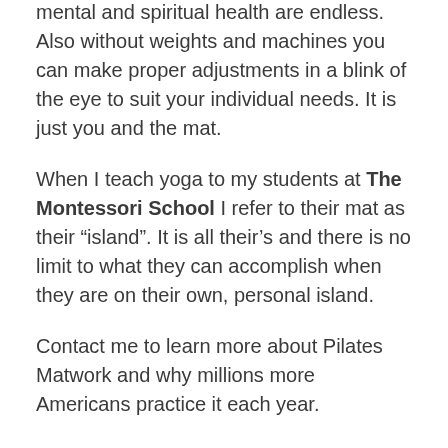mental and spiritual health are endless. Also without weights and machines you can make proper adjustments in a blink of the eye to suit your individual needs. It is just you and the mat.
When I teach yoga to my students at The Montessori School I refer to their mat as their “island”. It is all their’s and there is no limit to what they can accomplish when they are on their own, personal island.
Contact me to learn more about Pilates Matwork and why millions more Americans practice it each year.
Sean